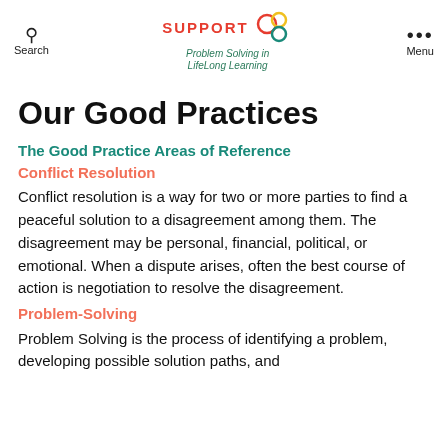Search | SUPPORT Problem Solving in LifeLong Learning | Menu
Our Good Practices
The Good Practice Areas of Reference
Conflict Resolution
Conflict resolution is a way for two or more parties to find a peaceful solution to a disagreement among them. The disagreement may be personal, financial, political, or emotional. When a dispute arises, often the best course of action is negotiation to resolve the disagreement.
Problem-Solving
Problem Solving is the process of identifying a problem, developing possible solution paths, and